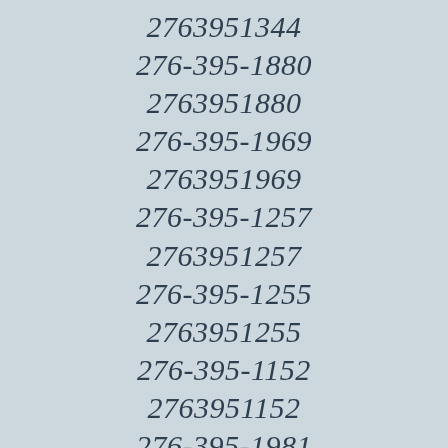2763951344
276-395-1880
2763951880
276-395-1969
2763951969
276-395-1257
2763951257
276-395-1255
2763951255
276-395-1152
2763951152
276-395-1981
2763951981
276-395-1575
2763951575
276-395-1314